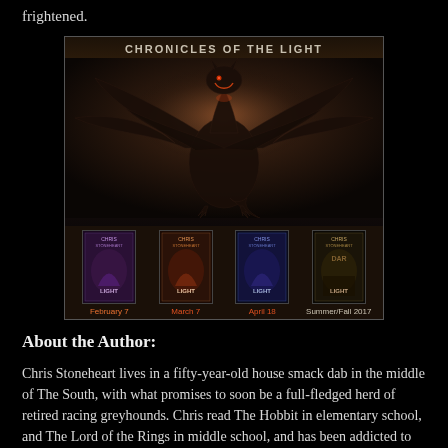frightened.
[Figure (illustration): Chronicles of the Light book series banner featuring a large dragon with spread wings against a dark background, with four book covers shown below labeled: February 7, March 7, April 18, Summer/Fall 2017]
About the Author:
Chris Stoneheart lives in a fifty-year-old house smack dab in the middle of The South, with what promises to soon be a full-fledged herd of retired racing greyhounds. Chris read The Hobbit in elementary school, and The Lord of the Rings in middle school, and has been addicted to fantasy ever since. (It’s probably best we don’t talk about what Chris read in high school.)
Chronicles of the Light gives us a world where weredragons, werewolves, werelions, three different species of vampires, and a